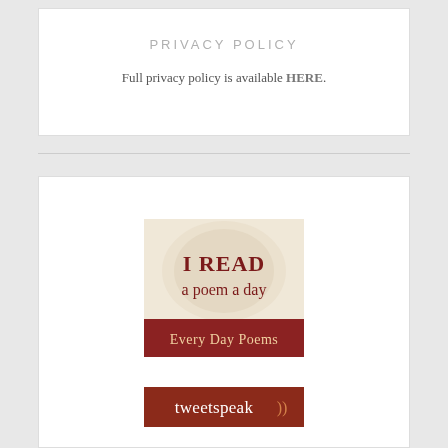PRIVACY POLICY
Full privacy policy is available HERE.
[Figure (illustration): I READ a poem a day - Every Day Poems banner image with cream/beige background and dark red text]
[Figure (logo): tweetspeak logo with dark red/brown background and white text with sound wave symbols]